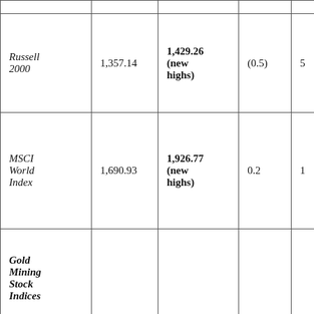| Index | Previous Value | Current Value | Change (%) |  |
| --- | --- | --- | --- | --- |
| Russell 2000 | 1,357.14 | 1,429.26 (new highs) | (0.5) | 5 |
| MSCI World Index | 1,690.93 | 1,926.77 (new highs) | 0.2 | 1 |
| Gold Mining Stock Indices |  |  |  |  |
| Gold Bugs Index (HUI) | 182.31 | 196.30 | 2.4 | 7 |